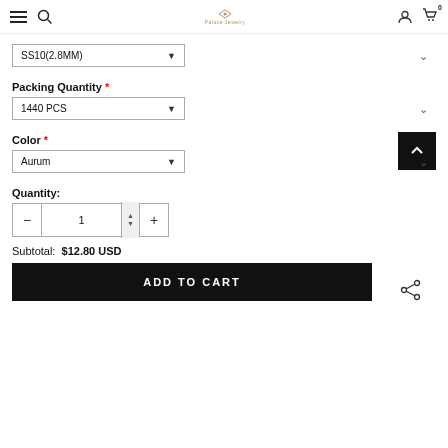Navigation bar with menu, search, logo, user and cart icons
SS10(2.8MM) [dropdown]
Packing Quantity *
1440 PCS [dropdown]
Color *
Aurum [dropdown]
Quantity:
1
Subtotal:  $12.80 USD
ADD TO CART